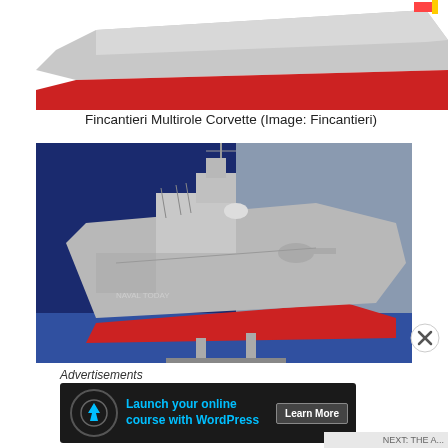[Figure (photo): Top portion of Fincantieri Multirole Corvette ship model showing the red hull bottom and gray upper hull against white background]
Fincantieri Multirole Corvette (Image: Fincantieri)
[Figure (photo): Scale model of Fincantieri Multirole Corvette displayed on a stand against a blue background, showing detailed gray superstructure with weapons systems and red hull]
Advertisements
[Figure (screenshot): Advertisement banner: Launch your online course with WordPress - Learn More button, dark background with blue text and tree icon]